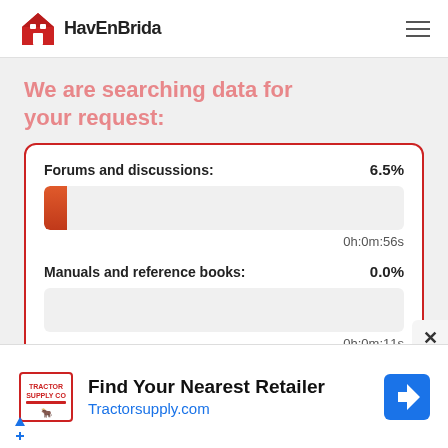HavEnBrida
We are searching data for your request:
Forums and discussions: 6.5%
0h:0m:56s
Manuals and reference books: 0.0%
0h:0m:11s
Find Your Nearest Retailer
Tractorsupply.com